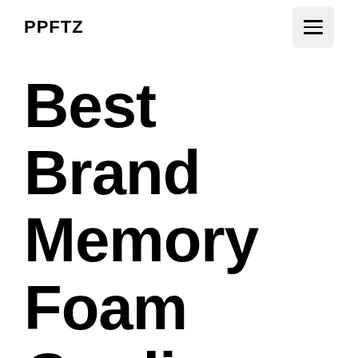PPFTZ
Best Brand Memory Foam Cooling Mattress Toppers